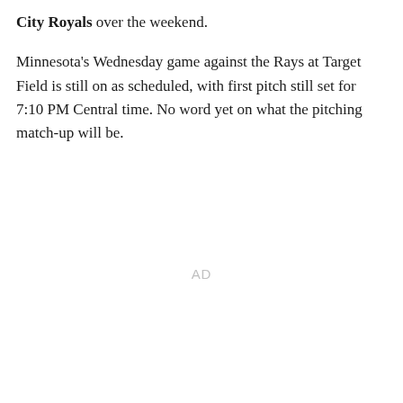City Royals over the weekend.

Minnesota's Wednesday game against the Rays at Target Field is still on as scheduled, with first pitch still set for 7:10 PM Central time. No word yet on what the pitching match-up will be.
AD